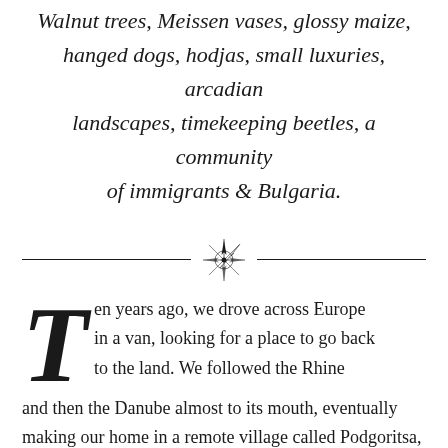Walnut trees, Meissen vases, glossy maize, hanged dogs, hodjas, small luxuries, arcadian landscapes, timekeeping beetles, a community of immigrants & Bulgaria.
[Figure (illustration): Decorative compass rose divider with horizontal lines on either side]
Ten years ago, we drove across Europe in a van, looking for a place to go back to the land. We followed the Rhine and then the Danube almost to its mouth, eventually making our home in a remote village called Podgoritsa,